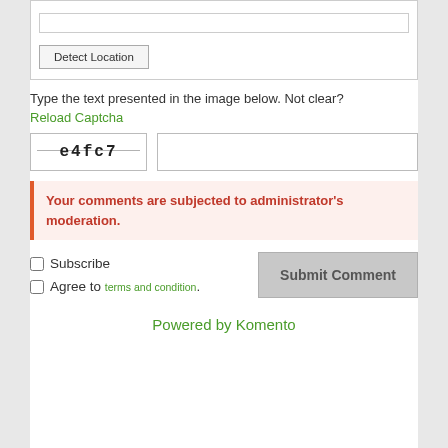[Figure (screenshot): A form button labeled 'Detect Location' inside a bordered box]
Type the text presented in the image below. Not clear?
Reload Captcha
[Figure (other): CAPTCHA image showing text 'e4fc7' and an empty input field next to it]
Your comments are subjected to administrator's moderation.
Subscribe
Agree to terms and condition.
Powered by Komento